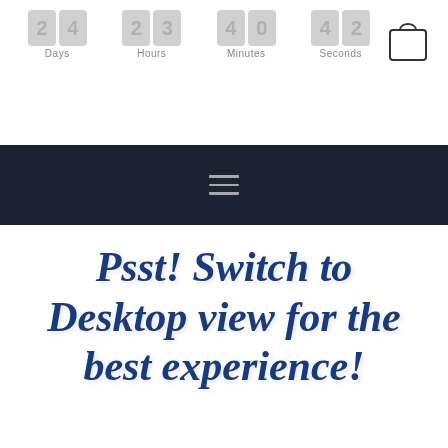[Figure (screenshot): Countdown timer UI showing Days, Hours, Minutes, Seconds with grey digit boxes and labels, plus a shopping cart icon]
[Figure (screenshot): Dark navy navigation bar with a three-line hamburger menu icon centered]
Psst! Switch to Desktop view for the best experience!